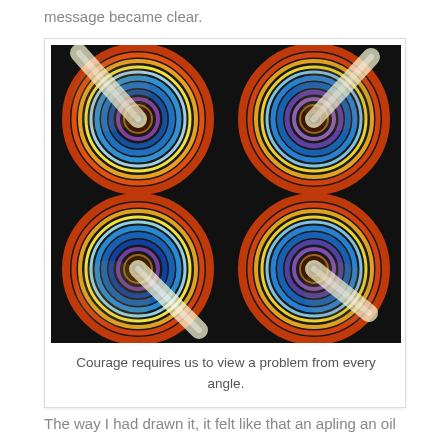message became clear.
[Figure (illustration): Four circular spiral artworks arranged in a 2x2 grid on a black background. Each circle shows a colorful spiral pattern with blue, orange, red, yellow and white colors radiating from a dark center, viewed from slightly different angles giving the appearance of viewing a problem from every angle.]
Courage requires us to view a problem from every angle.
The way I had drawn it, it felt like that an apling an oil